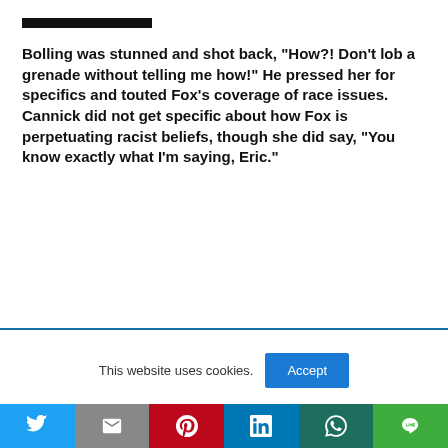Bolling was stunned and shot back, “How?! Don’t lob a grenade without telling me how!” He pressed her for specifics and touted Fox’s coverage of race issues. Cannick did not get specific about how Fox is perpetuating racist beliefs, though she did say, “You know exactly what I’m saying, Eric.”
This website uses cookies.
Accept
Social share bar: Twitter, Gmail, Pinterest, LinkedIn, WhatsApp, LINE